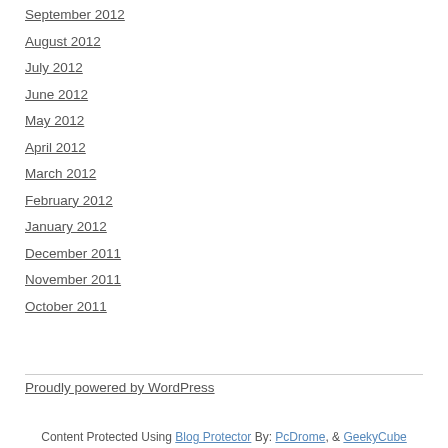September 2012
August 2012
July 2012
June 2012
May 2012
April 2012
March 2012
February 2012
January 2012
December 2011
November 2011
October 2011
Proudly powered by WordPress
Content Protected Using Blog Protector By: PcDrome, & GeekyCube